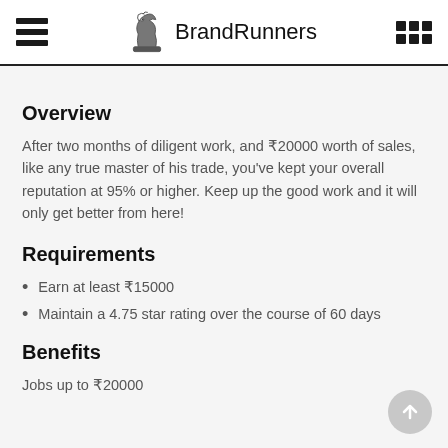BrandRunners
Overview
After two months of diligent work, and ₹20000 worth of sales, like any true master of his trade, you've kept your overall reputation at 95% or higher. Keep up the good work and it will only get better from here!
Requirements
Earn at least ₹15000
Maintain a 4.75 star rating over the course of 60 days
Benefits
Jobs up to ₹20000